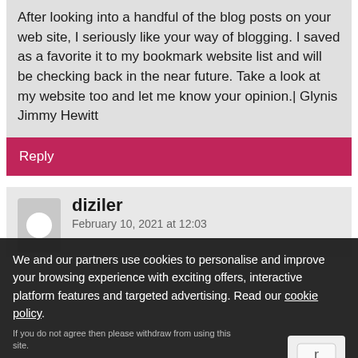After looking into a handful of the blog posts on your web site, I seriously like your way of blogging. I saved as a favorite it to my bookmark website list and will be checking back in the near future. Take a look at my website too and let me know your opinion.| Glynis Jimmy Hewitt
Reply
diziler
February 10, 2021 at 12:03
We and our partners use cookies to personalise and improve your browsing experience with exciting offers, interactive platform features and targeted advertising. Read our cookie policy.
If you do not agree then please withdraw from using this site.
Yes, I agree
I apologize for the delayed response. If you are still experiencing this issue, please reach out...